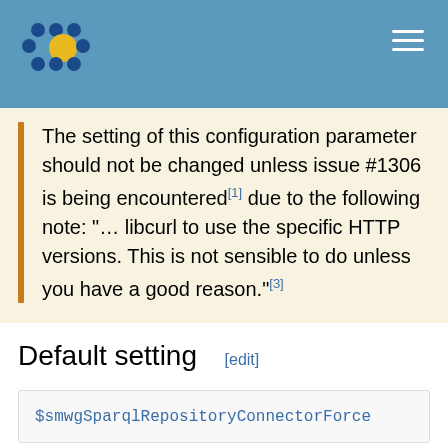The setting of this configuration parameter should not be changed unless issue #1306 is being encountered[1] due to the following note: "… libcurl to use the specific HTTP versions. This is not sensible to do unless you have a good reason."[3]
Default setting [edit]
$smwgSparqlRepositoryConnectorForce
This means that CURLOPT_HTTP_VERSION will not be forced for the endpoint communication.
Changing the default setting